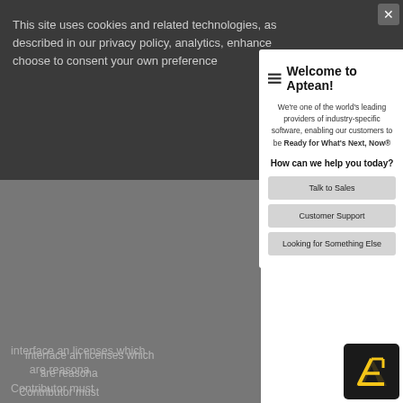This site uses cookies and related technologies, as described in our privacy policy, analytics, enhance choose to consent your own preference
interface an licenses which are reasona Contributor must also include
(c) Repre Contributor pursuant to Section 3.4(d), above, Contributor believes that Contributor's Modifications are Contributor's original creation(s) a Contributor has sufficient rights to grant the rights convoyed by
[Figure (screenshot): Aptean welcome modal dialog with hamburger menu icon, title 'Welcome to Aptean!', description text about being leading provider of industry-specific software, 'How can we help you today?' question, and three buttons: Talk to Sales, Customer Support, Looking for Something Else. Aptean logo badge in bottom right.]